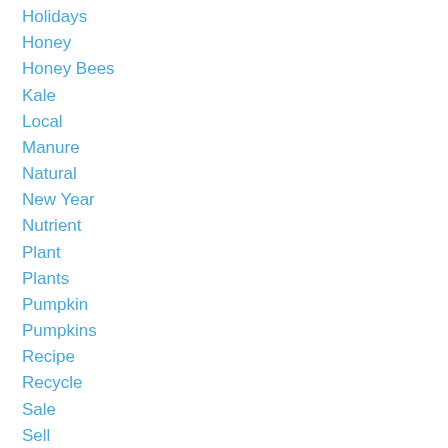Holidays
Honey
Honey Bees
Kale
Local
Manure
Natural
New Year
Nutrient
Plant
Plants
Pumpkin
Pumpkins
Recipe
Recycle
Sale
Sell
Spring
Summer
Tree
Trees